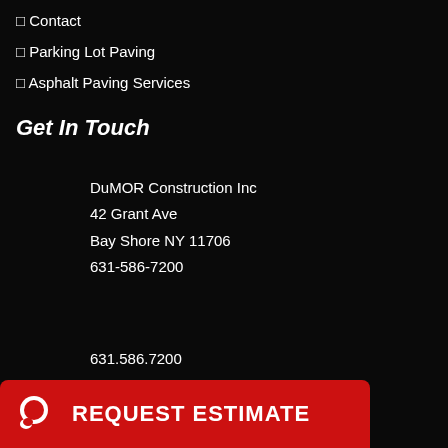❐ Contact
❐ Parking Lot Paving
❐ Asphalt Paving Services
Get In Touch
DuMOR Construction Inc
42 Grant Ave
Bay Shore NY 11706
631-586-7200
631.586.7200
REQUEST ESTIMATE